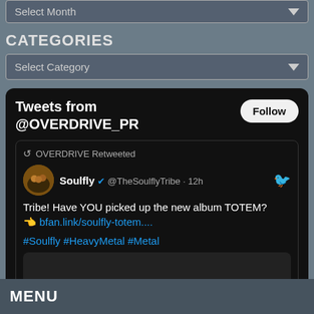Select Month
CATEGORIES
Select Category
[Figure (screenshot): Twitter widget showing tweets from @OVERDRIVE_PR with a retweet from Soulfly (@TheSoulflyTribe) about the new album TOTEM, including hashtags #Soulfly #HeavyMetal #Metal]
MENU